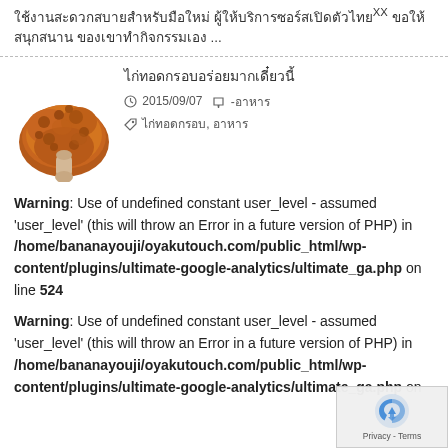ใช้งานสะดวกสบายสำหรับมือใหม่ ผู้ให้บริการซอร์สเปิดตัวไทยXX ขอให้ สนุกสนาน ของเขาทำกิจกรรมเอง ...
ไก่ทอดกรอบอร่อยมากเดี๋ยวนี้
2015/09/07  -อาหาร
ไก่ทอดกรอบ, อาหาร
Warning: Use of undefined constant user_level - assumed 'user_level' (this will throw an Error in a future version of PHP) in /home/bananayouji/oyakutouch.com/public_html/wp-content/plugins/ultimate-google-analytics/ultimate_ga.php on line 524
Warning: Use of undefined constant user_level - assumed 'user_level' (this will throw an Error in a future version of PHP) in /home/bananayouji/oyakutouch.com/public_html/wp-content/plugins/ultimate-google-analytics/ultimate_ga.php on